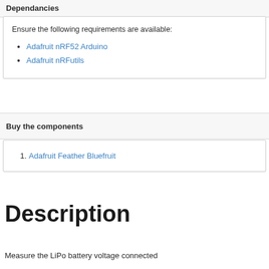Dependancies
Ensure the following requirements are available:
Adafruit nRF52 Arduino
Adafruit nRFutils
Buy the components
1. Adafruit Feather Bluefruit
Description
Measure the LiPo battery voltage connected